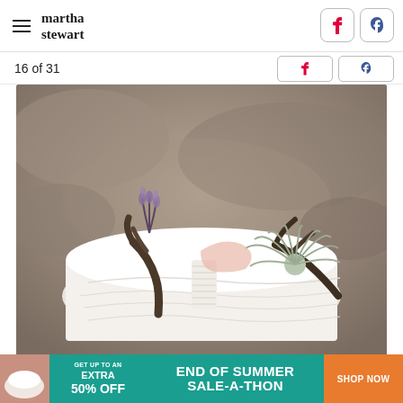martha stewart
16 of 31
[Figure (photo): A white frosted cake topped with a rustic twig wedding cake topper wrapped in white twine, adorned with an air plant (tillandsia) and small dried botanicals including lavender sprigs, against a blurred outdoor nature background.]
[Figure (infographic): Advertisement banner: teal background with white text 'GET UP TO AN EXTRA 50% OFF' on the left, large white bold text 'END OF SUMMER SALE-A-THON' in center, and orange button 'SHOP NOW' on the right.]